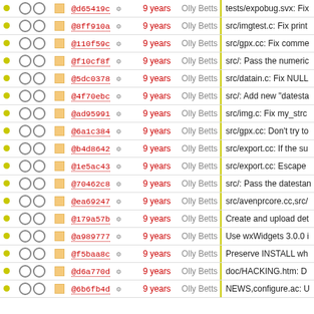|  |  |  | Commit |  | Age | Author |  | Message |
| --- | --- | --- | --- | --- | --- | --- | --- | --- |
| • | ○ ○ | □ | @d65419c | ⚙ | 9 years | Olly Betts | | | tests/expobug.svx: Fix |
| • | ○ ○ | □ | @8ff910a | ⚙ | 9 years | Olly Betts | | | src/imgtest.c: Fix print |
| • | ○ ○ | □ | @110f59c | ⚙ | 9 years | Olly Betts | | | src/gpx.cc: Fix comme |
| • | ○ ○ | □ | @f10cf8f | ⚙ | 9 years | Olly Betts | | | src/: Pass the numeric |
| • | ○ ○ | □ | @5dc0378 | ⚙ | 9 years | Olly Betts | | | src/datain.c: Fix NULL |
| • | ○ ○ | □ | @4f70ebc | ⚙ | 9 years | Olly Betts | | | src/: Add new "datesta |
| • | ○ ○ | □ | @ad95991 | ⚙ | 9 years | Olly Betts | | | src/img.c: Fix my_strc |
| • | ○ ○ | □ | @6a1c384 | ⚙ | 9 years | Olly Betts | | | src/gpx.cc: Don't try to |
| • | ○ ○ | □ | @b4d8642 | ⚙ | 9 years | Olly Betts | | | src/export.cc: If the su |
| • | ○ ○ | □ | @1e5ac43 | ⚙ | 9 years | Olly Betts | | | src/export.cc: Escape |
| • | ○ ○ | □ | @70462c8 | ⚙ | 9 years | Olly Betts | | | src/: Pass the datestan |
| • | ○ ○ | □ | @ea69247 | ⚙ | 9 years | Olly Betts | | | src/avenprcore.cc,src/ |
| • | ○ ○ | □ | @179a57b | ⚙ | 9 years | Olly Betts | | | Create and upload det |
| • | ○ ○ | □ | @a989777 | ⚙ | 9 years | Olly Betts | | | Use wxWidgets 3.0.0 i |
| • | ○ ○ | □ | @f5baa8c | ⚙ | 9 years | Olly Betts | | | Preserve INSTALL wh |
| • | ○ ○ | □ | @d6a770d | ⚙ | 9 years | Olly Betts | | | doc/HACKING.htm: D |
| • | ○ ○ | □ | @6b6fb4d | ⚙ | 9 years | Olly Betts | | | NEWS,configure.ac: U |